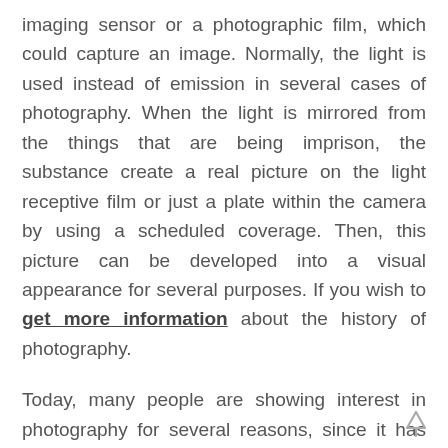imaging sensor or a photographic film, which could capture an image. Normally, the light is used instead of emission in several cases of photography. When the light is mirrored from the things that are being imprison, the substance create a real picture on the light receptive film or just a plate within the camera by using a scheduled coverage. Then, this picture can be developed into a visual appearance for several purposes. If you wish to get more information about the history of photography.
Today, many people are showing interest in photography for several reasons, since it has been invented. Also, the artists gain more interest in photography; because they like to capture the reality as well as turn the reality